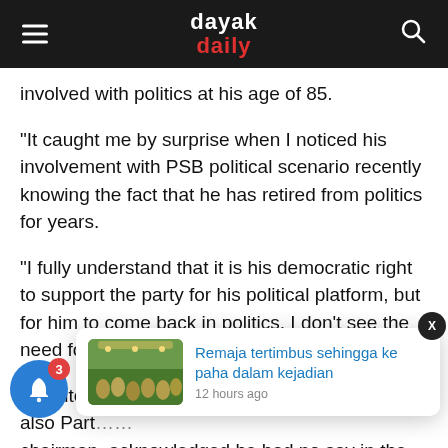dayak daily
involved with politics at his age of 85.
“It caught me by surprise when I noticed his involvement with PSB political scenario recently knowing the fact that he has retired from politics for years.
“I fully understand that it is his democratic right to support the party for his political platform, but for him to come back in politics, I don’t see the need for him,” he said in a statement today.
Despite his view… politics and let t… also Part… chairman, acknowledged he had no say in the veteran’s
[Figure (screenshot): Popup notification showing article 'Remaja tertimbus sehingga ke paha dalam kejadian' with thumbnail image and timestamp '12 hours ago']